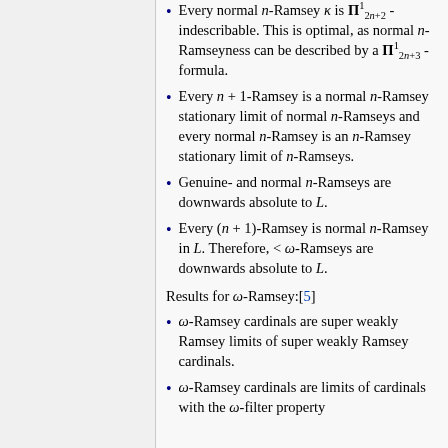Every normal n-Ramsey κ is Π¹_{2n+2}-indescribable. This is optimal, as normal n-Ramseyness can be described by a Π¹_{2n+3}-formula.
Every n+1-Ramsey is a normal n-Ramsey stationary limit of normal n-Ramseys and every normal n-Ramsey is an n-Ramsey stationary limit of n-Ramseys.
Genuine- and normal n-Ramseys are downwards absolute to L.
Every (n+1)-Ramsey is normal n-Ramsey in L. Therefore, <ω-Ramseys are downwards absolute to L.
Results for ω-Ramsey:[5]
ω-Ramsey cardinals are super weakly Ramsey limits of super weakly Ramsey cardinals.
ω-Ramsey cardinals are limits of cardinals with the ω-filter property